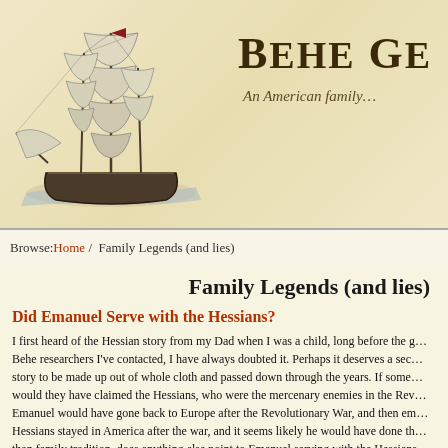[Figure (illustration): Black and white illustration of a tall sailing ship with multiple masts and full sails]
Behe Ge…
An American family…
Browse: Home / Family Legends (and lies)
Family Legends (and lies)
Did Emanuel Serve with the Hessians?
I first heard of the Hessian story from my Dad when I was a child, long before the g… Behe researchers I've contacted, I have always doubted it. Perhaps it deserves a sec… story to be made up out of whole cloth and passed down through the years. If some… would they have claimed the Hessians, who were the mercenary enemies in the Rev… Emanuel would have gone back to Europe after the Revolutionary War, and then em… Hessians stayed in America after the war, and it seems likely he would have done th… than family tradition, does anything else point to Emanuel serving with the Hessians… the German mercenaries that served. Most, but not all, were from the State of Hesse…
Luke Behe, Emanuel's grandson through Mathias, claimed that his grandfathers… War. His maternal grandfather was a Kaylor, who we know fought in the war. It… Presidents, Soldiers, Statesmen book was meant as singular. In any event, Luke… service.
Emanuel Biechi, from Alsace, was born in 1751. The first Hessians arrived with… New York in 1776. He would have been 25 years old. Some have discounted the… around 1760, as he would have been too young. However, if Emanuel Biechi is…